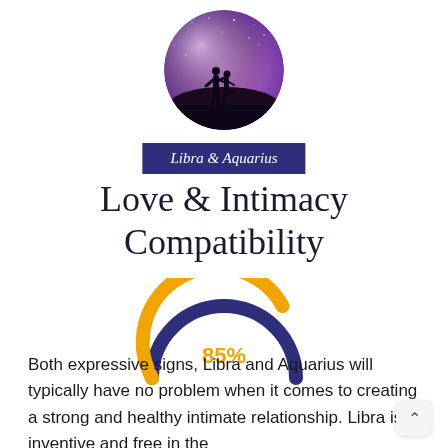[Figure (photo): Circular photo of couple silhouette against purple/pink starry night sky background]
Libra & Aquarius
Love & Intimacy Compatibility
[Figure (donut-chart): Semicircular gauge chart showing 85% in gold/amber color with dark navy remaining portion]
Both expressive signs, Libra and Aquarius will typically have no problem when it comes to creating a strong and healthy intimate relationship. Libra is inventive and free in the